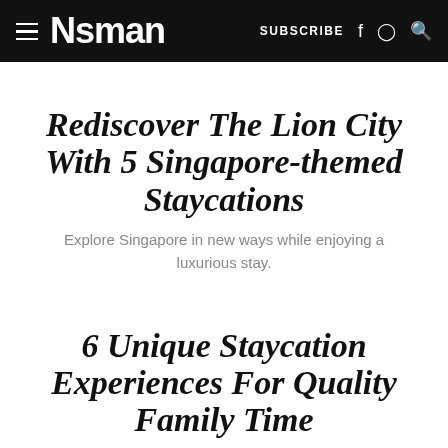≡ NSMAN   SUBSCRIBE f ⊙ Q
Rediscover The Lion City With 5 Singapore-themed Staycations
Explore Singapore in new ways while enjoying a luxurious stay.
6 Unique Staycation Experiences For Quality Family Time
No passport, no sweat - book a staycation for your next family getaway.